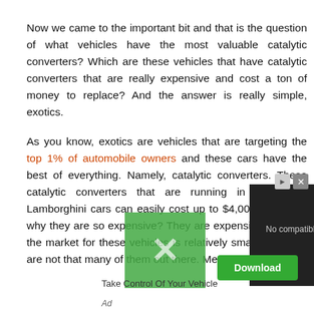Now we came to the important bit and that is the question of what vehicles have the most valuable catalytic converters? Which are these vehicles that have catalytic converters that are really expensive and cost a ton of money to replace? And the answer is really simple, exotics.
As you know, exotics are vehicles that are targeting the top 1% of automobile owners and these cars have the best of everything. Namely, catalytic converters. These catalytic converters that are running in Ferrari or Lamborghini cars can easily cost up to $4,000 each. So, why they are so expensive? They are expensive because the market for these vehicles is relatively small and there are not that many of them out there. Meaning that they
[Figure (other): Video player overlay showing 'No compatible source was found for this media.' with a Download button and ad controls overlaid on top of the article text.]